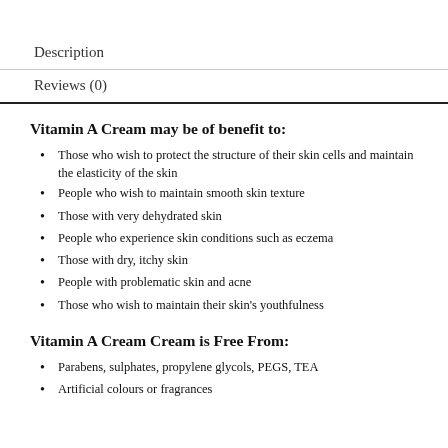Description
Reviews (0)
Vitamin A Cream may be of benefit to:
Those who wish to protect the structure of their skin cells and maintain the elasticity of the skin
People who wish to maintain smooth skin texture
Those with very dehydrated skin
People who experience skin conditions such as eczema
Those with dry, itchy skin
People with problematic skin and acne
Those who wish to maintain their skin’s youthfulness
Vitamin A Cream Cream is Free From:
Parabens, sulphates, propylene glycols, PEGS, TEA
Artificial colours or fragrances